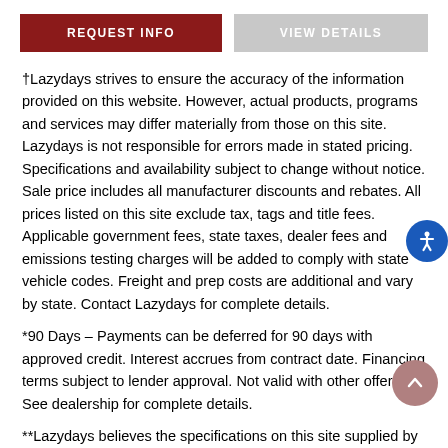[Figure (other): Two buttons: 'REQUEST INFO' (dark red) and 'VIEW DETAILS' (gray)]
†Lazydays strives to ensure the accuracy of the information provided on this website. However, actual products, programs and services may differ materially from those on this site. Lazydays is not responsible for errors made in stated pricing. Specifications and availability subject to change without notice. Sale price includes all manufacturer discounts and rebates. All prices listed on this site exclude tax, tags and title fees. Applicable government fees, state taxes, dealer fees and emissions testing charges will be added to comply with state vehicle codes. Freight and prep costs are additional and vary by state. Contact Lazydays for complete details.
*90 Days – Payments can be deferred for 90 days with approved credit. Interest accrues from contract date. Financing terms subject to lender approval. Not valid with other offers. See dealership for complete details.
**Lazydays believes the specifications on this site supplied by